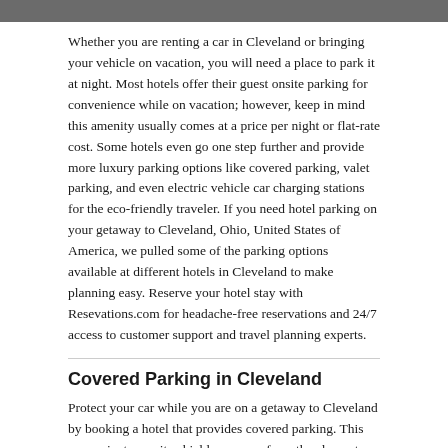Whether you are renting a car in Cleveland or bringing your vehicle on vacation, you will need a place to park it at night. Most hotels offer their guest onsite parking for convenience while on vacation; however, keep in mind this amenity usually comes at a price per night or flat-rate cost. Some hotels even go one step further and provide more luxury parking options like covered parking, valet parking, and even electric vehicle car charging stations for the eco-friendly traveler. If you need hotel parking on your getaway to Cleveland, Ohio, United States of America, we pulled some of the parking options available at different hotels in Cleveland to make planning easy. Reserve your hotel stay with Resevations.com for headache-free reservations and 24/7 access to customer support and travel planning experts.
Covered Parking in Cleveland
Protect your car while you are on a getaway to Cleveland by booking a hotel that provides covered parking. This convenient amenity shields your car from the elements like rain, hail, and snow, so you don't have any damages to your vehicle while on vacation. Other amenities that these hotels provide are Iron and ironing board, Hair Dryer, and Free parking.